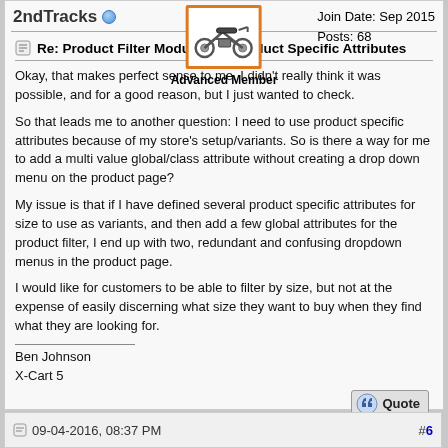2ndTracks
Join Date: Sep 2015
Posts: 68
Advanced Member
Re: Product Filter Module and Product Specific Attributes
Okay, that makes perfect sense to me. I didn't really think it was possible, and for a good reason, but I just wanted to check.
So that leads me to another question: I need to use product specific attributes because of my store's setup/variants. So is there a way for me to add a multi value global/class attribute without creating a drop down menu on the product page?
My issue is that if I have defined several product specific attributes for size to use as variants, and then add a few global attributes for the product filter, I end up with two, redundant and confusing dropdown menus in the product page.
I would like for customers to be able to filter by size, but not at the expense of easily discerning what size they want to buy when they find what they are looking for.
Ben Johnson
X-Cart 5
09-04-2016, 08:37 PM
#6